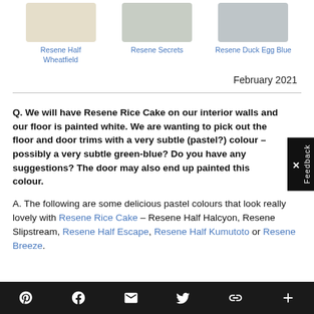[Figure (other): Three paint color swatches: Resene Half Wheatfield (warm beige), Resene Secrets (light gray-green), Resene Duck Egg Blue (cool light gray-blue)]
Resene Half Wheatfield
Resene Secrets
Resene Duck Egg Blue
February 2021
Q. We will have Resene Rice Cake on our interior walls and our floor is painted white. We are wanting to pick out the floor and door trims with a very subtle (pastel?) colour – possibly a very subtle green-blue? Do you have any suggestions? The door may also end up painted this colour.
A. The following are some delicious pastel colours that look really lovely with Resene Rice Cake – Resene Half Halcyon, Resene Slipstream, Resene Half Escape, Resene Half Kumutoto or Resene Breeze.
Pinterest | Facebook | Email | Twitter | Link | Plus